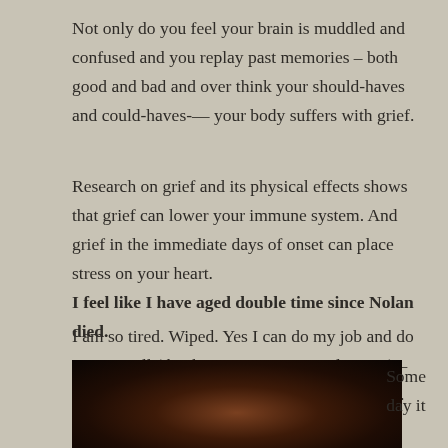Not only do you feel your brain is muddled and confused and you replay past memories – both good and bad and over think your should-haves and could-haves-— your body suffers with grief.
Research on grief and its physical effects shows that grief can lower your immune system. And grief in the immediate days of onset can place stress on your heart.
I feel like I have aged double time since Nolan died.
I am so tired. Wiped. Yes I can do my job and do it very well (thank you compartmentalization) – but when I come home many nights I am spent.
[Figure (photo): Dark portrait photo of a person, partially visible at the bottom of the page]
Some